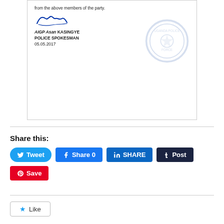from the above members of the party.
[Figure (illustration): Handwritten signature of AIGP Asan KASINGYE with a police stamp/seal watermark in the background]
AIGP Asan KASINGYE
POLICE SPOKESMAN
05.05.2017
Share this:
Tweet
Share 0
SHARE
Post
Save
Like